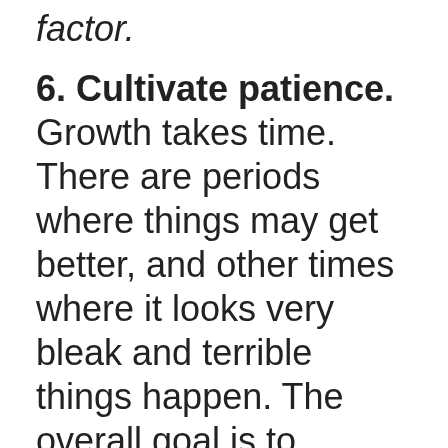factor.
6. Cultivate patience. Growth takes time. There are periods where things may get better, and other times where it looks very bleak and terrible things happen. The overall goal is to establish a different pattern and to have a goal of maintaining the process, rather than focusing on short-term successes and failures (though goals along the way are useful to